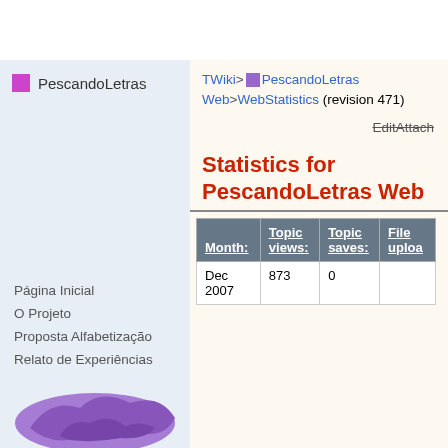PescandoLetras
TWiki> PescandoLetras Web>WebStatistics (revision 471)
EditAttach
Statistics for PescandoLetras Web
| Month: | Topic views: | Topic saves: | File uploa... |
| --- | --- | --- | --- |
| Dec 2007 | 873 | 0 |  |
Página Inicial
O Projeto
Proposta Alfabetização
Relato de Experiências
Fotos
Municípios Atendidos
Equipe de Professores
Eventos
Parcerias
Face Conosco
[Figure (map): Purple map silhouette of a Brazilian state/region]